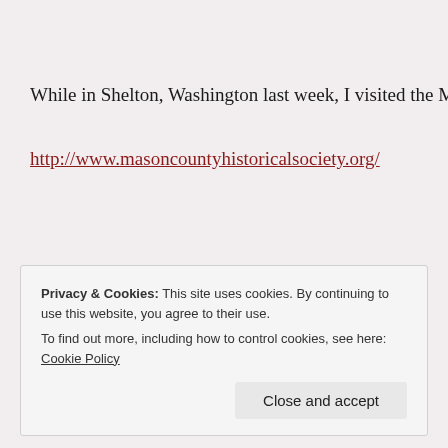While in Shelton, Washington last week, I visited the Mason County H
http://www.masoncountyhistoricalsociety.org/
Here are some photos that I took…
Privacy & Cookies: This site uses cookies. By continuing to use this website, you agree to their use. To find out more, including how to control cookies, see here: Cookie Policy
Close and accept